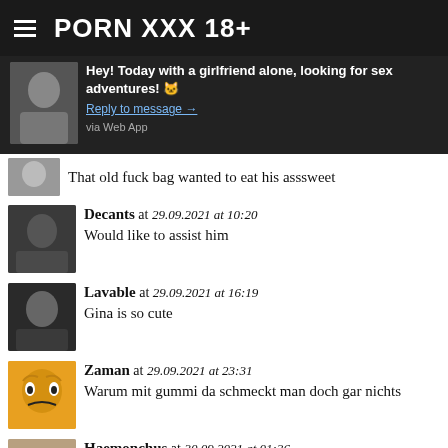PORN XXX 18+
Hey! Today with a girlfriend alone, looking for sex adventures! 🐱 Reply to message → via Web App
That old fuck bag wanted to eat his asssweet
Decants at 29.09.2021 at 10:20 Would like to assist him
Lavable at 29.09.2021 at 16:19 Gina is so cute
Zaman at 29.09.2021 at 23:31 Warum mit gummi da schmeckt man doch gar nichts
Haemonchus at 30.09.2021 at 01:36 Stunning love the blonde